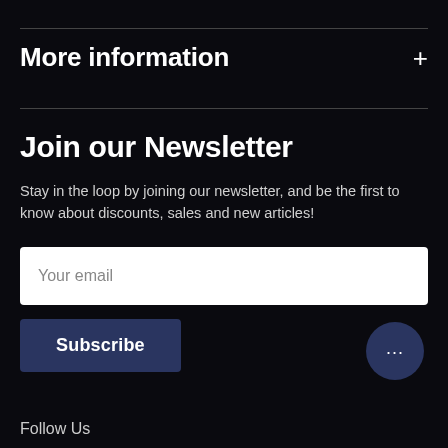More information
Join our Newsletter
Stay in the loop by joining our newsletter, and be the first to know about discounts, sales and new articles!
Your email
Subscribe
[Figure (illustration): Chat bubble icon with ellipsis (three dots) on dark navy circle background]
Follow Us